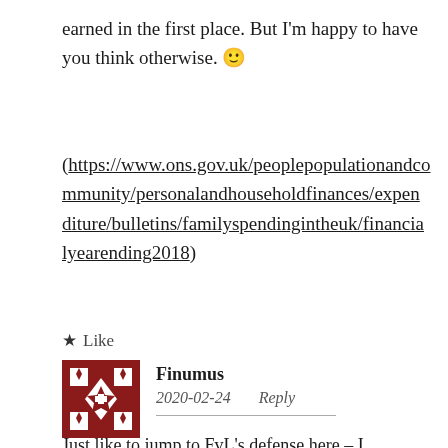earned in the first place. But I'm happy to have you think otherwise. 🙂
(https://www.ons.gov.uk/peoplepopulationandcommunity/personalandhouseholdfinances/expenditure/bulletins/familyspendingintheuk/financialyearending2018)
★ Like
Finumus
2020-02-24   Reply
Just like to jump to FvL's defense here – I